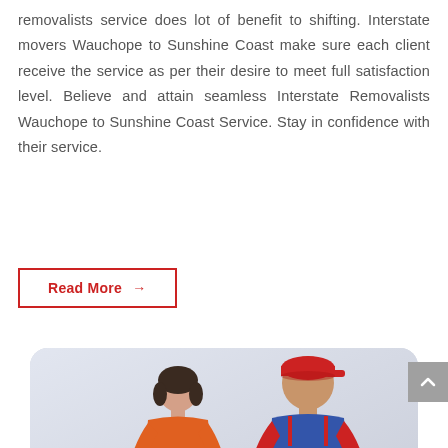removalists service does lot of benefit to shifting. Interstate movers Wauchope to Sunshine Coast make sure each client receive the service as per their desire to meet full satisfaction level. Believe and attain seamless Interstate Removalists Wauchope to Sunshine Coast Service. Stay in confidence with their service.
Read More →
[Figure (photo): Photo of a woman in an orange shirt and a man in a red cap and blue overalls looking at a tablet together, set against a light grey background, displayed in a rounded rectangle card.]